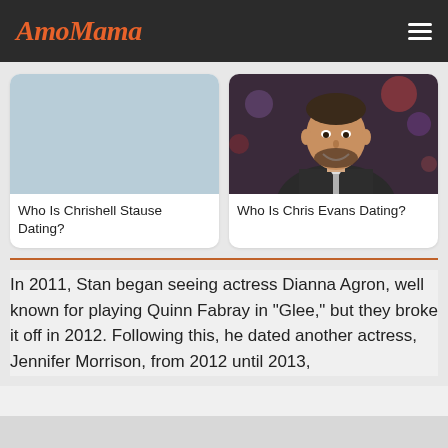AmoMama
[Figure (photo): Light blue/grey placeholder image for Chrishell Stause article card]
Who Is Chrishell Stause Dating?
[Figure (photo): Photo of Chris Evans smiling, wearing a dark suit with tie, at what appears to be a talk show set]
Who Is Chris Evans Dating?
In 2011, Stan began seeing actress Dianna Agron, well known for playing Quinn Fabray in "Glee," but they broke it off in 2012. Following this, he dated another actress, Jennifer Morrison, from 2012 until 2013,